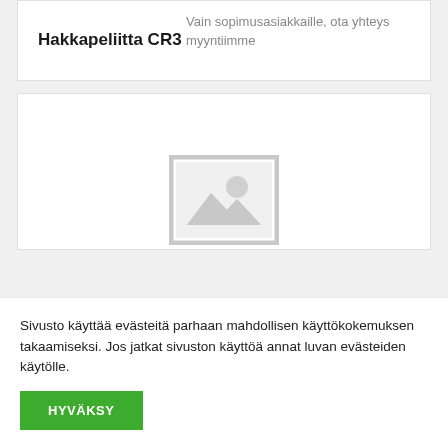Hakkapeliitta CR3
Vain sopimusasiakkaille, ota yhteys myyntiimme
[Figure (photo): Placeholder image icon with mountain/landscape symbol and circle, indicating a missing product image]
Sivusto käyttää evästeitä parhaan mahdollisen käyttökokemuksen takaamiseksi. Jos jatkat sivuston käyttöä annat luvan evästeiden käytölle.
HYVÄKSY